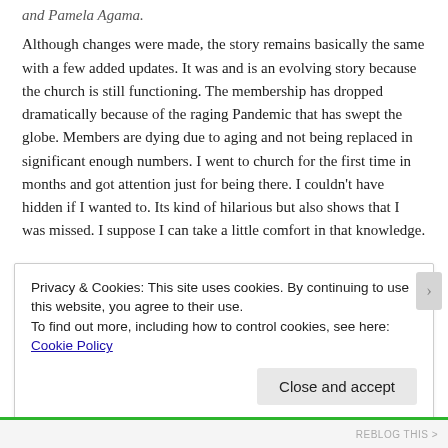and Pamela Agama.
Although changes were made, the story remains basically the same with a few added updates. It was and is an evolving story because the church is still functioning. The membership has dropped dramatically because of the raging Pandemic that has swept the globe. Members are dying due to aging and not being replaced in significant enough numbers. I went to church for the first time in months and got attention just for being there. I couldn't have hidden if I wanted to. Its kind of hilarious but also shows that I was missed. I suppose I can take a little comfort in that knowledge.
Privacy & Cookies: This site uses cookies. By continuing to use this website, you agree to their use.
To find out more, including how to control cookies, see here: Cookie Policy
Close and accept